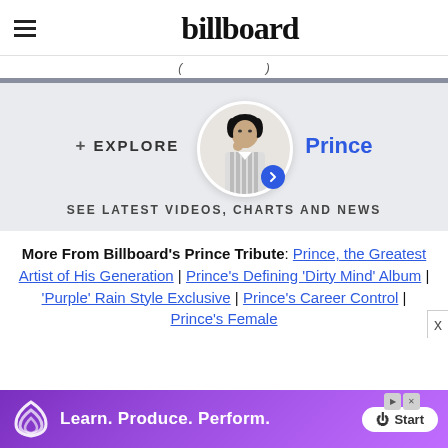billboard
( ... partial navigation text ... )
[Figure (screenshot): Explore section with Prince artist circle photo, explore label, Prince name link, and SEE LATEST VIDEOS, CHARTS AND NEWS text]
More From Billboard's Prince Tribute: Prince, the Greatest Artist of His Generation | Prince's Defining 'Dirty Mind' Album | 'Purple' Rain Style Exclusive | Prince's Career Control | Prince's Female
[Figure (other): Advertisement banner: Learn. Produce. Perform. Start button]